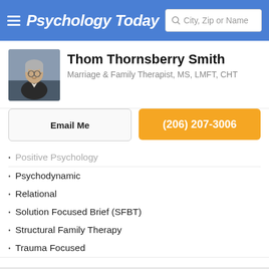Psychology Today — City, Zip or Name search bar
Thom Thornsberry Smith
Marriage & Family Therapist, MS, LMFT, CHT
Email Me
(206) 207-3006
Positive Psychology (partial)
Psychodynamic
Relational
Solution Focused Brief (SFBT)
Structural Family Therapy
Trauma Focused
Modality
Individuals
Couples
Family